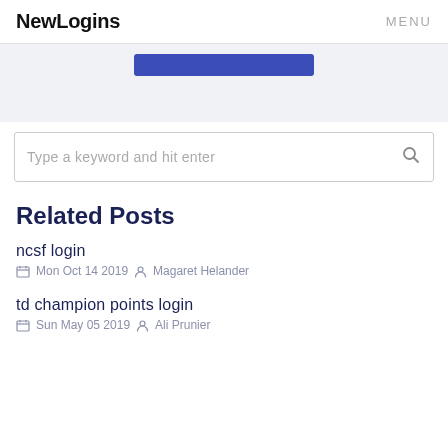NewLogins   MENU
[Figure (screenshot): Banner area with a blue button partially visible at top]
Type a keyword and hit enter
Related Posts
ncsf login
Mon Oct 14 2019   Magaret Helander
td champion points login
Sun May 05 2019   Ali Prunier